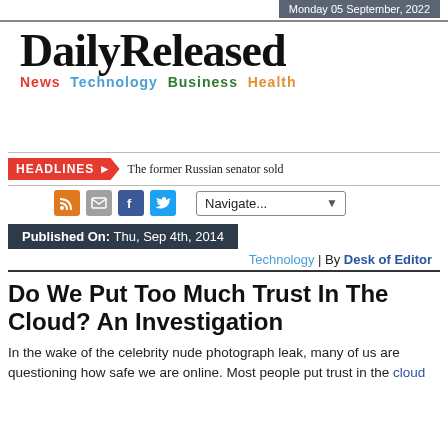Monday 05 September, 2022
DailyReleased
News Technology Business Health
HEADLINES  The former Russian senator sold
Published On: Thu, Sep 4th, 2014
Technology | By Desk of Editor
Do We Put Too Much Trust In The Cloud? An Investigation
In the wake of the celebrity nude photograph leak, many of us are questioning how safe we are online. Most people put trust in the cloud